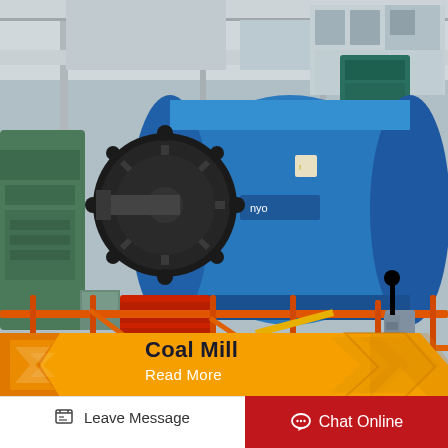[Figure (photo): Industrial coal mill machine in a factory setting. A large blue cylindrical ball mill dominates the center, with a black circular gear/wheel on its left side and a red ribbed component below. Orange safety railings are visible in the foreground. The factory interior shows concrete columns and additional green machinery on the left.]
Coal Mill
Read More
Leave Message
Chat Online